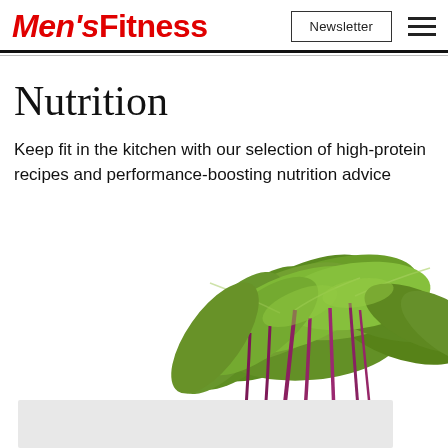Men's Fitness
Nutrition
Keep fit in the kitchen with our selection of high-protein recipes and performance-boosting nutrition advice
[Figure (photo): Fresh leafy green and purple-stemmed vegetables (beet greens or chard) on a white background, partially cut off at the bottom of the page]